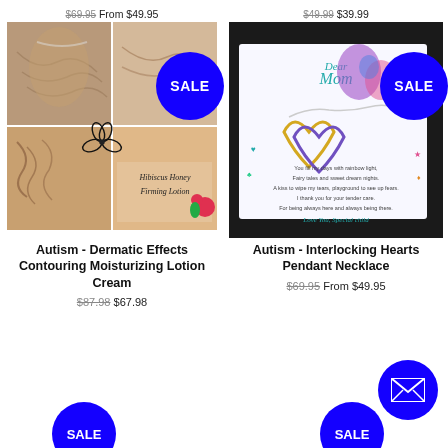$69.95 From $49.95
$49.99 $39.99
[Figure (photo): Collage of skin showing wrinkles and cellulite, with Hibiscus Honey Firming Lotion branding]
[Figure (photo): Autism Interlocking Hearts Pendant Necklace in gift box with Dear Mom poem card]
Autism - Dermatic Effects Contouring Moisturizing Lotion Cream
$87.98 $67.98
Autism - Interlocking Hearts Pendant Necklace
$69.95 From $49.95